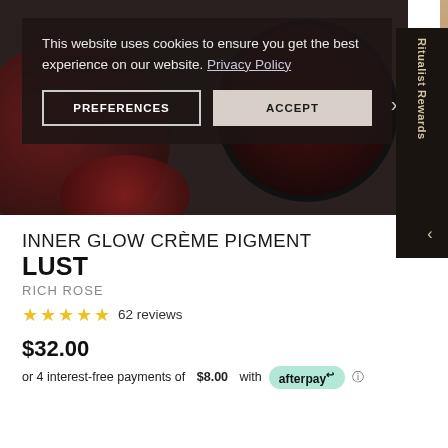[Figure (photo): Dark background product image showing Inner Glow Crème Pigment makeup compacts in deep red/burgundy tones]
This website uses cookies to ensure you get the best experience on our website. Privacy Policy
PREFERENCES
ACCEPT
INNER GLOW CRÈME PIGMENT
LUST
RICH ROSE
62 reviews
$32.00
or 4 interest-free payments of $8.00 with afterpay